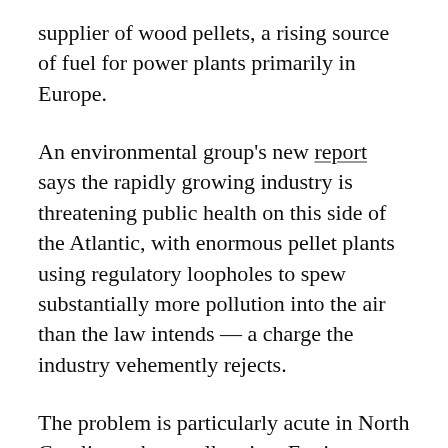supplier of wood pellets, a rising source of fuel for power plants primarily in Europe.
An environmental group's new report says the rapidly growing industry is threatening public health on this side of the Atlantic, with enormous pellet plants using regulatory loopholes to spew substantially more pollution into the air than the law intends — a charge the industry vehemently rejects.
The problem is particularly acute in North Carolina, where pellet giant Enviva Biomass has cornered the market and runs the nation's dirtiest pellet mill, according to the report. None of the state's four plants deploy pollution control